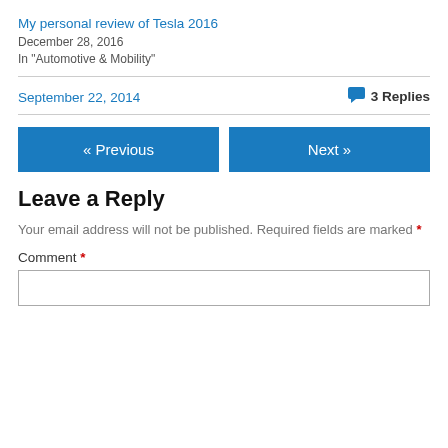My personal review of Tesla 2016
December 28, 2016
In "Automotive & Mobility"
September 22, 2014
3 Replies
« Previous
Next »
Leave a Reply
Your email address will not be published. Required fields are marked *
Comment *